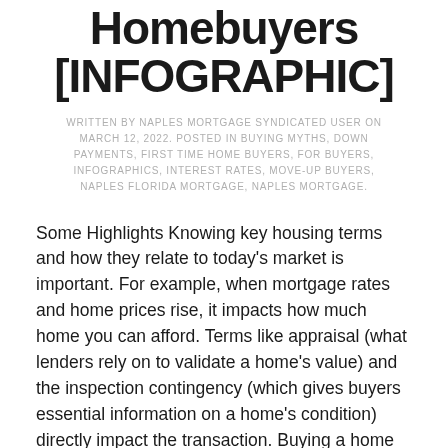Homebuyers [INFOGRAPHIC]
WRITTEN BY NAPLES MORTGAGE SYNDICATED USER ON MARCH 12, 2022. POSTED IN BUYING MYTHS, DOWN PAYMENTS, FIRST TIME HOME BUYERS, FOR BUYERS, INFOGRAPHICS, INTEREST RATES, MOVE-UP BUYERS, NAPLES FLORIDA MORTGAGE, NAPLES MORTGAGE.
Some Highlights Knowing key housing terms and how they relate to today's market is important. For example, when mortgage rates and home prices rise, it impacts how much home you can afford. Terms like appraisal (what lenders rely on to validate a home's value) and the inspection contingency (which gives buyers essential information on a home's condition) directly impact the transaction. Buying a home can be intimidating if you're not familiar with the terms used throughout the process. Let's connect so you have an expert guide and advice for any questions that may come up. Content previously...